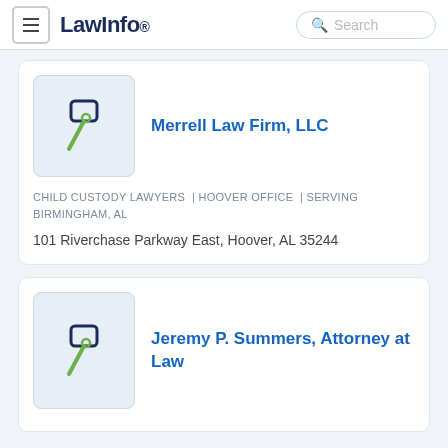LawInfo  Search
[Figure (logo): Merrell Law Firm LLC - gavel/mallet icon in dark blue and green]
Merrell Law Firm, LLC
CHILD CUSTODY LAWYERS  | HOOVER OFFICE  | SERVING BIRMINGHAM, AL
101 Riverchase Parkway East, Hoover, AL 35244
[Figure (logo): Jeremy P. Summers Attorney at Law - gavel/mallet icon in dark blue and green]
Jeremy P. Summers, Attorney at Law